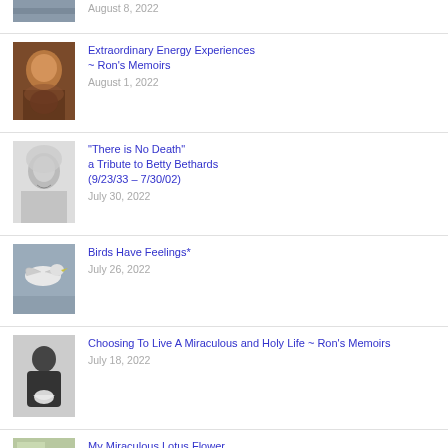[Figure (photo): Partial thumbnail of outdoor scene at top of page]
August 8, 2022
[Figure (photo): Portrait of man with red/brown hair and beard]
Extraordinary Energy Experiences ~ Ron's Memoirs
August 1, 2022
[Figure (photo): Black and white portrait of smiling woman]
"There is No Death" a Tribute to Betty Bethards (9/23/33 – 7/30/02)
July 30, 2022
[Figure (photo): Bird in flight, grey background]
Birds Have Feelings*
July 26, 2022
[Figure (photo): Black and white photo of figure in dark clothing]
Choosing To Live A Miraculous and Holy Life ~ Ron's Memoirs
July 18, 2022
[Figure (photo): Small thumbnail partially visible at bottom]
My Miraculous Lotus Flower ~ Ron's Memoirs